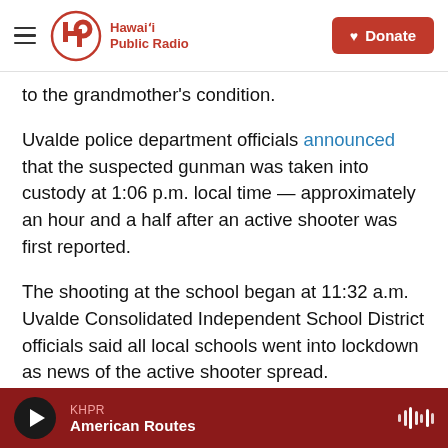Hawaiʻi Public Radio — Donate
to the grandmother's condition.
Uvalde police department officials announced that the suspected gunman was taken into custody at 1:06 p.m. local time — approximately an hour and a half after an active shooter was first reported.
The shooting at the school began at 11:32 a.m. Uvalde Consolidated Independent School District officials said all local schools went into lockdown as news of the active shooter spread.
Student and teachers were evacuated to the city's civic center, where officials are now offering grief
KHPR  American Routes